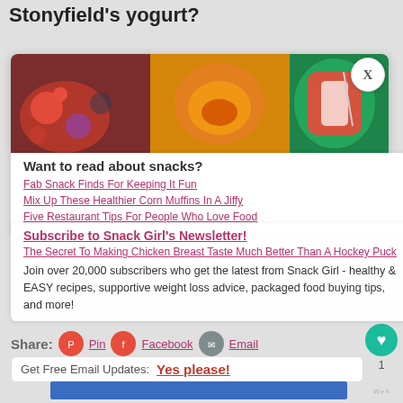Stonyfield's yogurt?
[Figure (photo): Food photos showing snacks including berries, muffins, and stuffed peppers in a banner image]
Want to read about snacks?
Fab Snack Finds For Keeping It Fun
Mix Up These Healthier Corn Muffins In A Jiffy
Five Restaurant Tips For People Who Love Food
Subscribe to Snack Girl's Newsletter!
The Secret To Making Chicken Breast Taste Much Better Than A Hockey Puck
Join over 20,000 subscribers who get the latest from Snack Girl - healthy & EASY recipes, supportive weight loss advice, packaged food buying tips, and more!
Share:  Pin  Facebook  Email
Get Free Email Updates: Yes please!